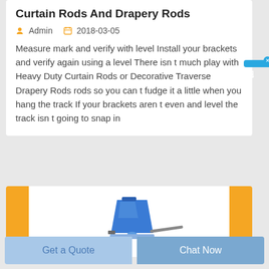Curtain Rods And Drapery Rods
Admin   2018-03-05
Measure mark and verify with level Install your brackets and verify again using a level There isn t much play with Heavy Duty Curtain Rods or Decorative Traverse Drapery Rods rods so you can t fudge it a little when you hang the track If your brackets aren t even and level the track isn t going to snap in
[Figure (photo): Product image showing a blue drapery rod bracket/glider component between two yellow vertical bars on a white card]
Get a Quote
Chat Now